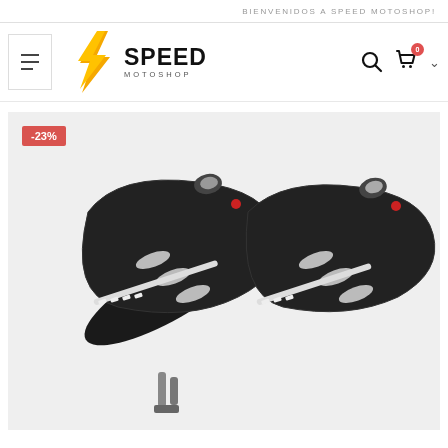BIENVENIDOS A SPEED MOTOSHOP!
[Figure (logo): Speed Motoshop logo with yellow lightning bolt and brand name]
[Figure (photo): Motorcycle hand guards/handguards in black with LED strip lights and turn signals, showing a pair of guards with cutout design. Discount badge showing -23%.]